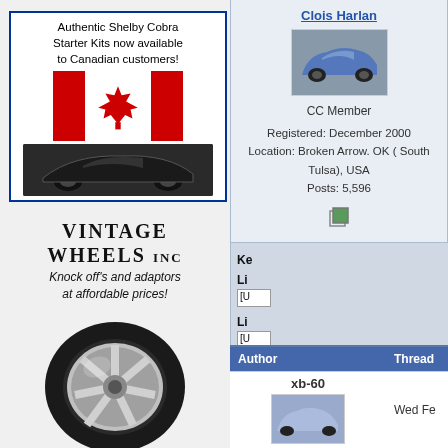[Figure (illustration): Advertisement for Authentic Shelby Cobra Starter Kits for Canadian customers, featuring Canadian flag and black Cobra car image]
[Figure (illustration): Vintage Wheels Inc advertisement - Knock off's and adaptors at affordable prices, with chrome wheel image]
[Figure (logo): MMG Motorsports logo with red car silhouette above text]
Clois Harlan
CC Member
Registered: December 2000 Location: Broken Arrow. OK ( South Tulsa), USA Posts: 5,596
| Author | Thread |
| --- | --- |
| xb-60 | Wed Fe |